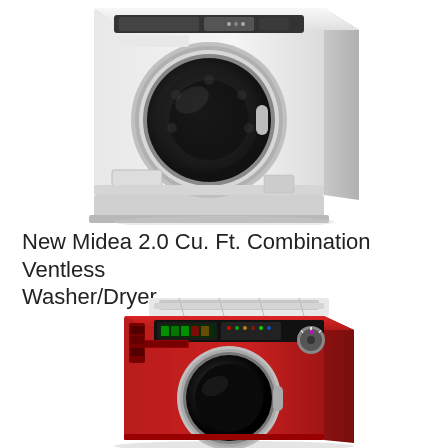[Figure (photo): A white front-loading combination washer/dryer machine (Midea brand), shown from a front-right angle on a white background.]
New Midea 2.0 Cu. Ft. Combination Ventless Washer/Dryer
[Figure (photo): A red front-loading combination washer/dryer machine (Equator brand), shown from a front-right angle on a white background, with white towels on top.]